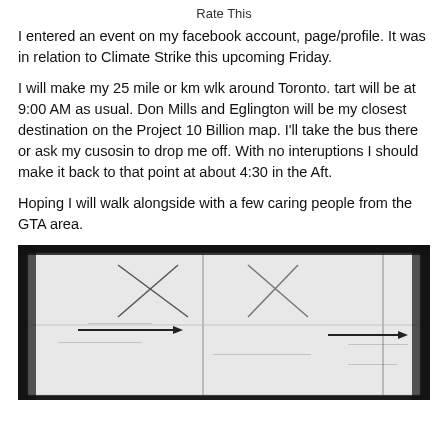Rate This
I entered an event on my facebook account, page/profile. It was in relation to Climate Strike this upcoming Friday.
I will make my 25 mile or km wlk around Toronto. tart will be at 9:00 AM as usual. Don Mills and Eglington will be my closest destination on the Project 10 Billion map. I'll take the bus there or ask my cusosin to drop me off. With no interuptions I should make it back to that point at about 4:30 in the Aft.
Hoping I will walk alongside with a few caring people from the GTA area.
[Figure (photo): A photograph of a map printout showing street intersections with arrows indicating directions, appears to be a navigation or route map printed on white paper, partially dark at edges.]